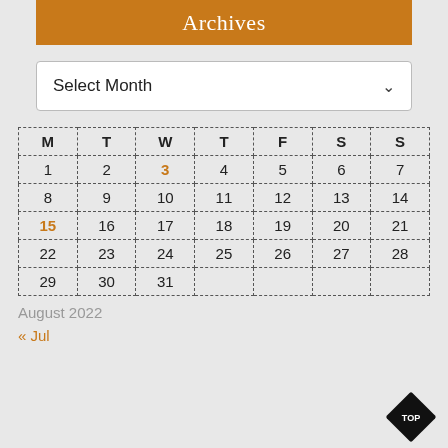Archives
Select Month
| M | T | W | T | F | S | S |
| --- | --- | --- | --- | --- | --- | --- |
| 1 | 2 | 3 | 4 | 5 | 6 | 7 |
| 8 | 9 | 10 | 11 | 12 | 13 | 14 |
| 15 | 16 | 17 | 18 | 19 | 20 | 21 |
| 22 | 23 | 24 | 25 | 26 | 27 | 28 |
| 29 | 30 | 31 |  |  |  |  |
August 2022
« Jul